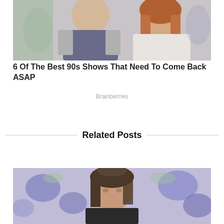[Figure (photo): Two people posing together; a man in a gray and navy baseball-style shirt and a woman with long red/auburn hair in a white top, against a painted background.]
6 Of The Best 90s Shows That Need To Come Back ASAP
Brainberries
Related Posts
[Figure (photo): A woman with dark hair pulled back, wearing a dark top, posed against a purple floral background.]